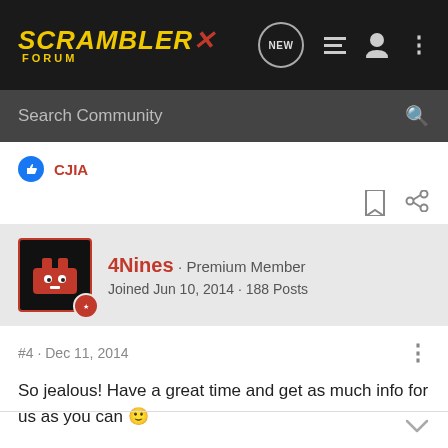Scrambler Forum · NEW button, list icon, user icon, dots menu
Search Community
CJIA
4Nines · Premium Member
Joined Jun 10, 2014 · 188 Posts
#4 · Dec 11, 2014
So jealous! Have a great time and get as much info for us as you can 🙂